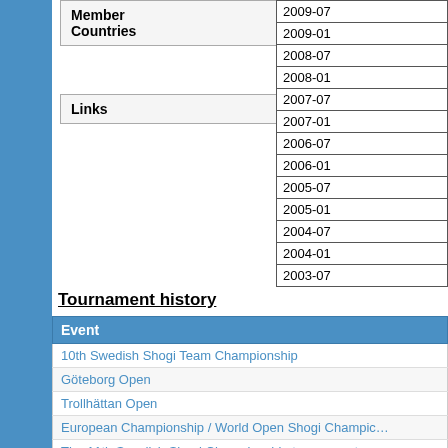Member Countries
Links
| Date |
| --- |
| 2009-07 |
| 2009-01 |
| 2008-07 |
| 2008-01 |
| 2007-07 |
| 2007-01 |
| 2006-07 |
| 2006-01 |
| 2005-07 |
| 2005-01 |
| 2004-07 |
| 2004-01 |
| 2003-07 |
Tournament history
| Event |
| --- |
| 10th Swedish Shogi Team Championship |
| Göteborg Open |
| Trollhättan Open |
| European Championship / World Open Shogi Championship |
| The 11th Swedish Shogi Championship tournament |
| Goteborg Open |
| Göteborg Open |